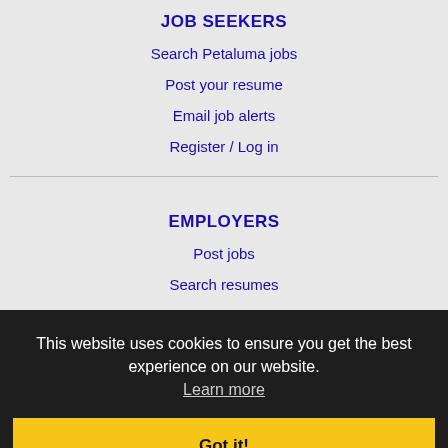JOB SEEKERS
Search Petaluma jobs
Post your resume
Email job alerts
Register / Log in
EMPLOYERS
Post jobs
Search resumes
Email resume alerts
Advertise
IMMIGRATION SPECIALISTS
Post jobs
Immigration FAQs
This website uses cookies to ensure you get the best experience on our website. Learn more
Got it!